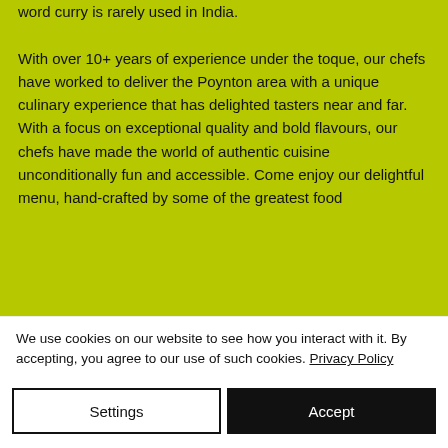word curry is rarely used in India.

With over 10+ years of experience under the toque, our chefs have worked to deliver the Poynton area with a unique culinary experience that has delighted tasters near and far. With a focus on exceptional quality and bold flavours, our chefs have made the world of authentic cuisine unconditionally fun and accessible. Come enjoy our delightful menu, hand-crafted by some of the greatest food
We use cookies on our website to see how you interact with it. By accepting, you agree to our use of such cookies. Privacy Policy
Settings
Accept